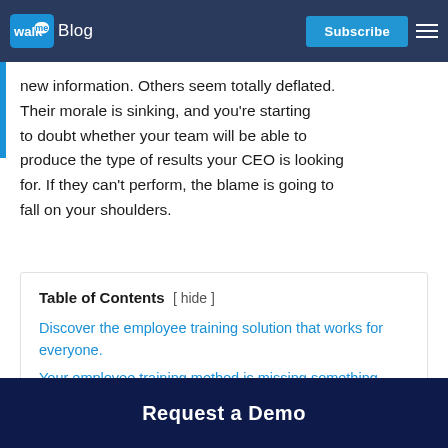WalkMe Blog | Subscribe
new information. Others seem totally deflated. Their morale is sinking, and you're starting to doubt whether your team will be able to produce the type of results your CEO is looking for. If they can't perform, the blame is going to fall on your shoulders.
Table of Contents [ hide ]
Discover the employee training solution that works for everyone.
Your employee training method is missing something essential.
Request a Demo